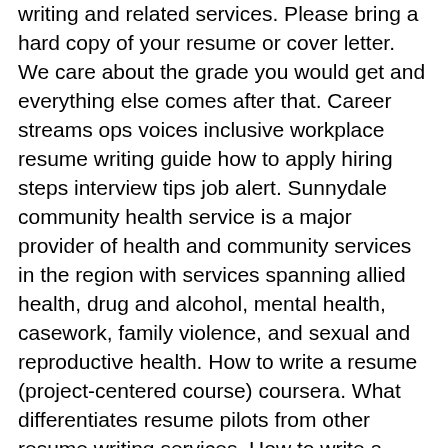writing and related services. Please bring a hard copy of your resume or cover letter. We care about the grade you would get and everything else comes after that. Career streams ops voices inclusive workplace resume writing guide how to apply hiring steps interview tips job alert. Sunnydale community health service is a major provider of health and community services in the region with services spanning allied health, drug and alcohol, mental health, casework, family violence, and sexual and reproductive health. How to write a resume (project-centered course) coursera. What differentiates resume pilots from other resume writing services. How to write a resume or cv in english - thoughtco. Downs syndrome, autism, cerebral palsy, spina bifida, brain injuries, learning impaired, visual or hearing impaired, disabled veterans, and wounded warriors). Resume writing fees are like anything else - it pays to shop around. The career objective is your elevator pitch and belongs at the top of your resume. Role of the public service our values ops structure. The 8 best fonts to use on a resume. You